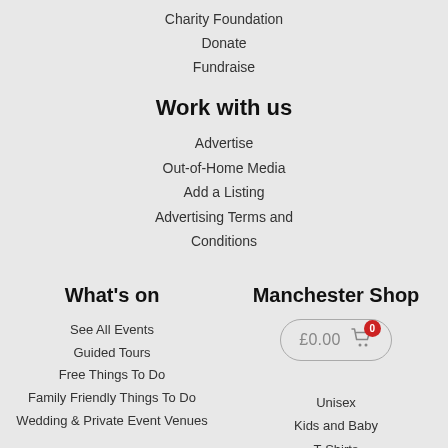Charity Foundation
Donate
Fundraise
Work with us
Advertise
Out-of-Home Media
Add a Listing
Advertising Terms and Conditions
What's on
Manchester Shop
See All Events
Guided Tours
Free Things To Do
Family Friendly Things To Do
Wedding & Private Event Venues
[Figure (other): Shopping cart button showing £0.00 with a red badge showing 0]
Unisex
Kids and Baby
T-Shirts
Hoodies and Sweaters
Mugs and Bottles
Offers